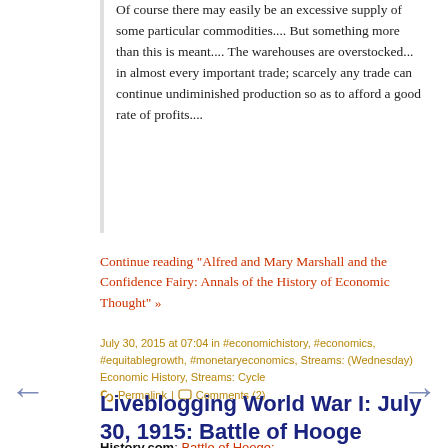Of course there may easily be an excessive supply of some particular commodities.... But something more than this is meant.... The warehouses are overstocked... in almost every important trade; scarcely any trade can continue undiminished production so as to afford a good rate of profits....
Continue reading "Alfred and Mary Marshall and the Confidence Fairy: Annals of the History of Economic Thought" »
July 30, 2015 at 07:04 in #economichistory, #economics, #equitablegrowth, #monetaryeconomics, Streams: (Wednesday) Economic History, Streams: Cycle | Permalink | Comments (2)
Liveblogging World War I: July 30, 1915: Battle of Hooge
History.com: Battle of Hooge:
In Flanders, Belgium, on July 30, 1915, the Germans put their new weapon, the flammenwerfer, or flamethrower, to